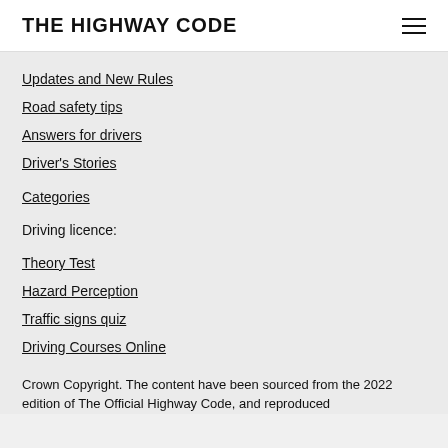THE HIGHWAY CODE
Updates and New Rules
Road safety tips
Answers for drivers
Driver's Stories
Categories
Driving licence:
Theory Test
Hazard Perception
Traffic signs quiz
Driving Courses Online
Crown Copyright. The content have been sourced from the 2022 edition of The Official Highway Code, and reproduced